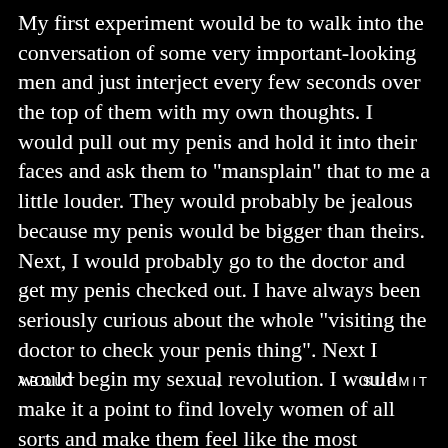My first experiment would be to walk into the conversation of some very important-looking men and just interject every few seconds over the top of them with my own thoughts. I would pull out my penis and hold it into their faces and ask them to "mansplain" that to me a little louder. They would probably be jealous because my penis would be bigger than theirs. Next, I would probably go to the doctor and get my penis checked out. I have always been seriously curious about the whole "visiting the doctor to check your penis thing". Next I would begin my sexual revolution. I would make it a point to find lovely women of all sorts and make them feel like the most beautiful creatures on the face of the earth. Last thing I would do with my penis before I finally had to say goodbye to it is probably pet it a little
ABOUT   ↓   SUBMIT